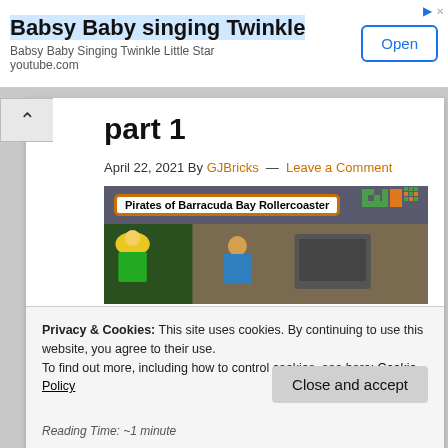[Figure (screenshot): Ad banner for 'Babsy Baby singing Twinkle' YouTube video with Open button]
part 1
April 22, 2021 By GJBricks — Leave a Comment
[Figure (screenshot): Pirates of Barracuda Bay Rollercoaster LEGO video thumbnail with GJBricks logo]
Privacy & Cookies: This site uses cookies. By continuing to use this website, you agree to their use.
To find out more, including how to control cookies, see here: Cookie Policy
Close and accept
Reading Time: ~1 minute